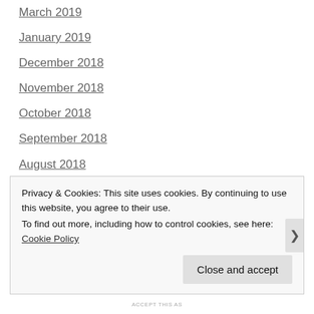March 2019
January 2019
December 2018
November 2018
October 2018
September 2018
August 2018
July 2018
June 2018
May 2018
April 2018
March 2018
Privacy & Cookies: This site uses cookies. By continuing to use this website, you agree to their use.
To find out more, including how to control cookies, see here: Cookie Policy
ACCEPT THIS AS